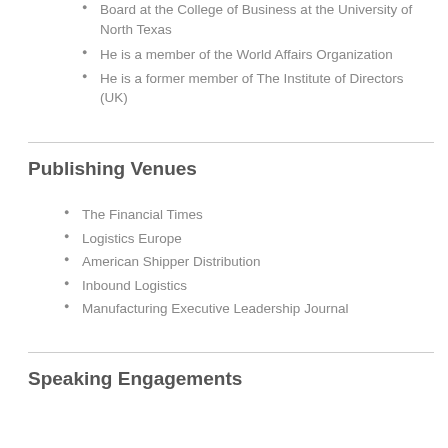Mr Dean is a member of the Dean's Advisory Board at the College of Business at the University of North Texas
He is a member of the World Affairs Organization
He is a former member of The Institute of Directors (UK)
Publishing Venues
The Financial Times
Logistics Europe
American Shipper Distribution
Inbound Logistics
Manufacturing Executive Leadership Journal
Speaking Engagements